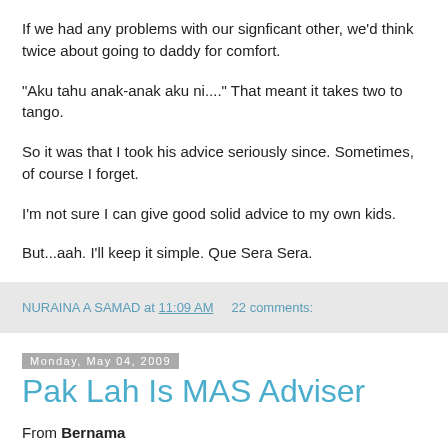If we had any problems with our signficant other, we'd think twice about going to daddy for comfort.
"Aku tahu anak-anak aku ni...." That meant it takes two to tango.
So it was that I took his advice seriously since. Sometimes, of course I forget.
I'm not sure I can give good solid advice to my own kids.
But...aah. I'll keep it simple. Que Sera Sera.
NURAINA A SAMAD at 11:09 AM   22 comments:
Monday, May 04, 2009
Pak Lah Is MAS Adviser
From Bernama